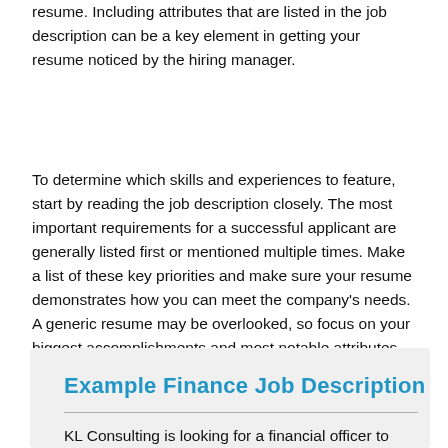resume. Including attributes that are listed in the job description can be a key element in getting your resume noticed by the hiring manager.
To determine which skills and experiences to feature, start by reading the job description closely. The most important requirements for a successful applicant are generally listed first or mentioned multiple times. Make a list of these key priorities and make sure your resume demonstrates how you can meet the company's needs. A generic resume may be overlooked, so focus on your biggest accomplishments and most notable attributes.
Example Finance Job Description
KL Consulting is looking for a financial officer to